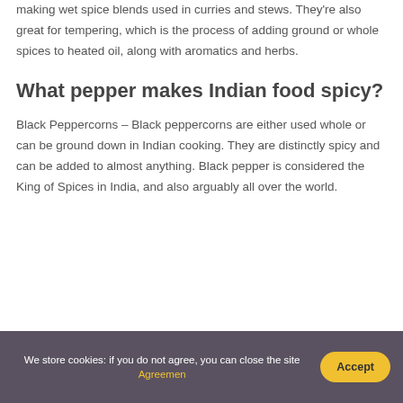making wet spice blends used in curries and stews. They're also great for tempering, which is the process of adding ground or whole spices to heated oil, along with aromatics and herbs.
What pepper makes Indian food spicy?
Black Peppercorns – Black peppercorns are either used whole or can be ground down in Indian cooking. They are distinctly spicy and can be added to almost anything. Black pepper is considered the King of Spices in India, and also arguably all over the world.
We store cookies: if you do not agree, you can close the site Agreement | Accept